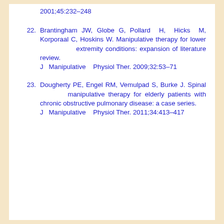2001;45:232–248
22. Brantingham JW, Globe G, Pollard H, Hicks M, Korporaal C, Hoskins W. Manipulative therapy for lower extremity conditions: expansion of literature review. J Manipulative Physiol Ther. 2009;32:53–71
23. Dougherty PE, Engel RM, Vemulpad S, Burke J. Spinal manipulative therapy for elderly patients with chronic obstructive pulmonary disease: a case series. J Manipulative Physiol Ther. 2011;34:413–417